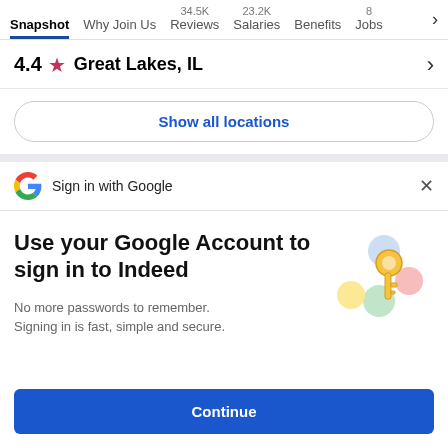Snapshot | Why Join Us | 34.5K Reviews | 23.2K Salaries | Benefits | 8 Jobs
4.4 ★ Great Lakes, IL
Show all locations
Sign in with Google
Use your Google Account to sign in to Indeed
No more passwords to remember. Signing in is fast, simple and secure.
Continue